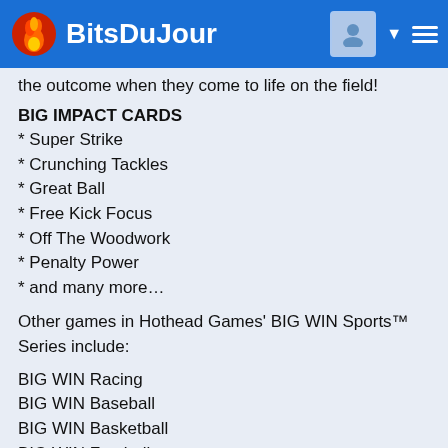BitsDuJour
the outcome when they come to life on the field!
BIG IMPACT CARDS
* Super Strike
* Crunching Tackles
* Great Ball
* Free Kick Focus
* Off The Woodwork
* Penalty Power
* and many more…
Other games in Hothead Games' BIG WIN Sports™ Series include:
BIG WIN Racing
BIG WIN Baseball
BIG WIN Basketball
BIG WIN Football
BIG WIN Hockey